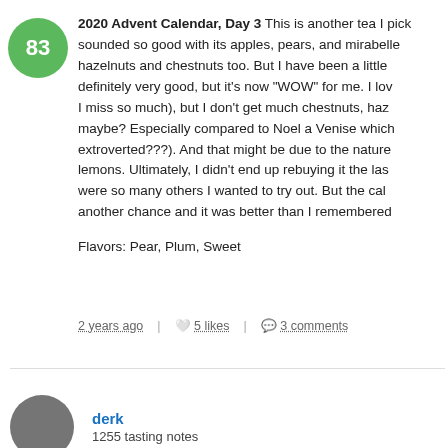2020 Advent Calendar, Day 3 This is another tea I pick... sounded so good with its apples, pears, and mirabelle... hazelnuts and chestnuts too. But I have been a little... definitely very good, but it's now "WOW" for me. I lo... I miss so much), but I don't get much chestnuts, ha... maybe? Especially compared to Noel a Venise which... extroverted???). And that might be due to the nature... lemons. Ultimately, I didn't end up rebuying it the las... were so many others I wanted to try out. But the cale... another chance and it was better than I remembered
Flavors: Pear, Plum, Sweet
2 years ago | 5 likes | 3 comments
derk
1255 tasting notes